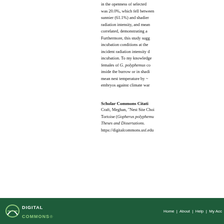in the openness of selected was 20.0%, which fell between sunnier (61.1%) and shadier radiation intensity, and mean correlated, demonstrating a Furthermore, this study sugg incubation conditions at the incident radiation intensity d incubation. To my knowledge females of G. polyphemus co inside the burrow or in shadi mean nest temperature by ~ embryos against climate war
Scholar Commons Citati
Craft, Meghan, "Nest Site Choi Tortoise (Gopherus polyphemu Theses and Dissertations. https://digitalcommons.usf.edu
[Figure (logo): Digital Commons logo with navigation links (Home, About, Help, My Account) on dark green footer bar]